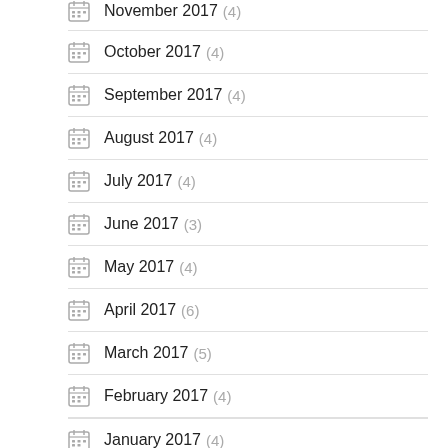November 2017 (4)
October 2017 (4)
September 2017 (4)
August 2017 (4)
July 2017 (4)
June 2017 (3)
May 2017 (4)
April 2017 (6)
March 2017 (5)
February 2017 (4)
January 2017 (4)